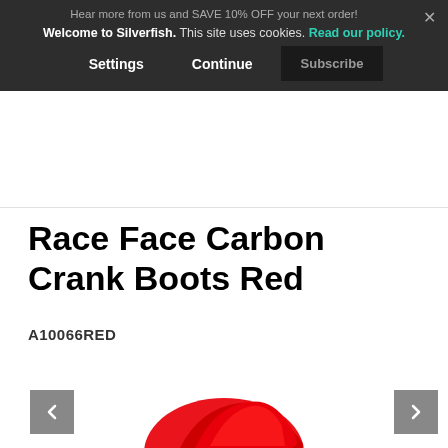Welcome to Silverfish. This site uses cookies. Read our policy. Settings Continue Subscribe
Hear more from us and SAVE 10% OFF your next order!
Race Face Carbon Crank Boots Red
A10066RED
[Figure (photo): Red Race Face Carbon Crank Boot product photo, partially visible at bottom of page with navigation arrows on left and right]